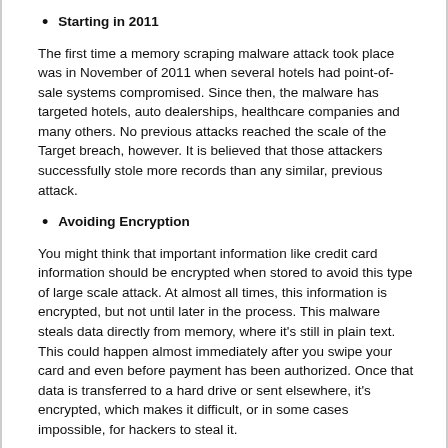Starting in 2011
The first time a memory scraping malware attack took place was in November of 2011 when several hotels had point-of-sale systems compromised. Since then, the malware has targeted hotels, auto dealerships, healthcare companies and many others. No previous attacks reached the scale of the Target breach, however. It is believed that those attackers successfully stole more records than any similar, previous attack.
Avoiding Encryption
You might think that important information like credit card information should be encrypted when stored to avoid this type of large scale attack. At almost all times, this information is encrypted, but not until later in the process. This malware steals data directly from memory, where it's still in plain text. This could happen almost immediately after you swipe your card and even before payment has been authorized. Once that data is transferred to a hard drive or sent elsewhere, it's encrypted, which makes it difficult, or in some cases impossible, for hackers to steal it.
Vulnerabilities of point-0f-sale
Storing credit card data in plain text is an inescapable vulnerability in point-of-sale systems, which is likely the driving factor behind